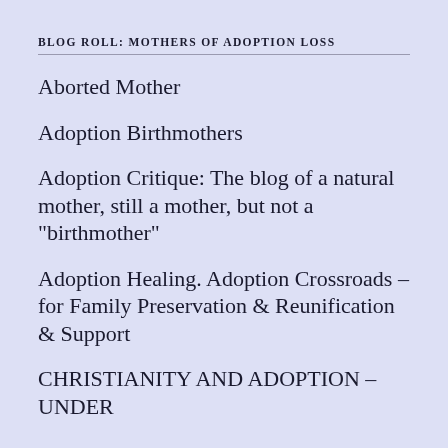BLOG ROLL: MOTHERS OF ADOPTION LOSS
Aborted Mother
Adoption Birthmothers
Adoption Critique: The blog of a natural mother, still a mother, but not a "birthmother"
Adoption Healing. Adoption Crossroads – for Family Preservation & Reunification & Support
CHRISTIANITY AND ADOPTION – UNDER